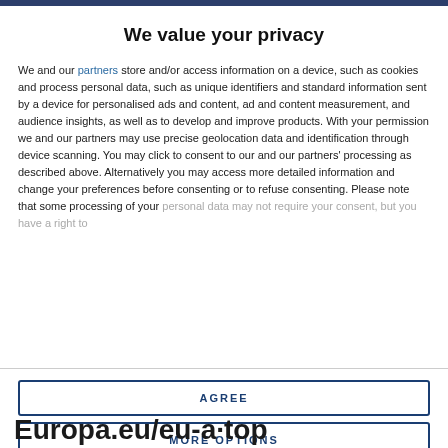We value your privacy
We and our partners store and/or access information on a device, such as cookies and process personal data, such as unique identifiers and standard information sent by a device for personalised ads and content, ad and content measurement, and audience insights, as well as to develop and improve products. With your permission we and our partners may use precise geolocation data and identification through device scanning. You may click to consent to our and our partners' processing as described above. Alternatively you may access more detailed information and change your preferences before consenting or to refuse consenting. Please note that some processing of your personal data may not require your consent, but you have a right to
AGREE
MORE OPTIONS
Europa.eu/eu-a·top